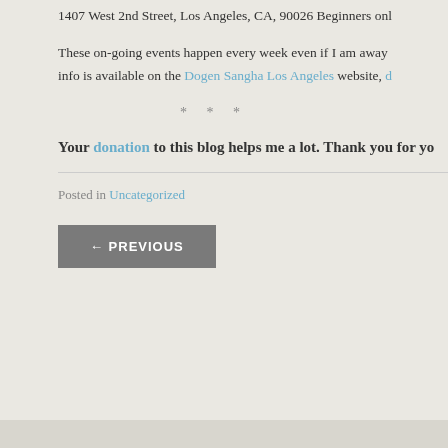1407 West 2nd Street, Los Angeles, CA, 90026 Beginners onl
These on-going events happen every week even if I am away info is available on the Dogen Sangha Los Angeles website, d
* * *
Your donation to this blog helps me a lot. Thank you for yo
Posted in Uncategorized
← PREVIOUS